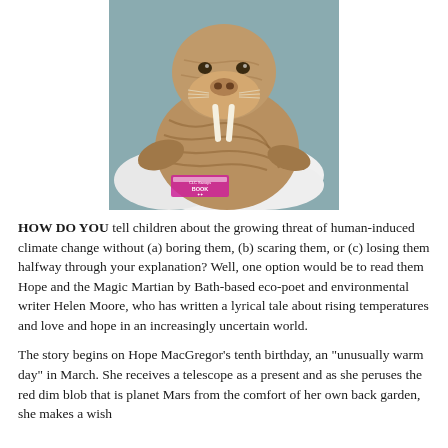[Figure (illustration): Illustrated cartoon walrus sitting on a white ice floe against a teal/grey background. The walrus is brown with striped markings, white tusks, and whiskers. There is a small pink label/sticker on the ice floe with text reading 'CLC Savoys Book' or similar.]
HOW DO YOU tell children about the growing threat of human-induced climate change without (a) boring them, (b) scaring them, or (c) losing them halfway through your explanation? Well, one option would be to read them Hope and the Magic Martian by Bath-based eco-poet and environmental writer Helen Moore, who has written a lyrical tale about rising temperatures and love and hope in an increasingly uncertain world.
The story begins on Hope MacGregor's tenth birthday, an "unusually warm day" in March. She receives a telescope as a present and as she peruses the red dim blob that is planet Mars from the comfort of her own back garden, she makes a wish